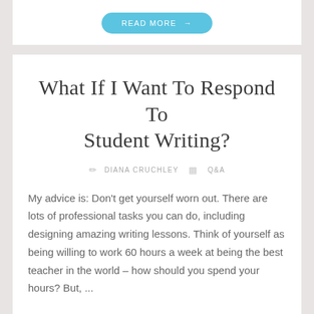[Figure (other): Read More button (blue pill-shaped) at top of page from previous article card]
What If I Want To Respond To Student Writing?
DIANA CRUCHLEY  Q&A
My advice is: Don't get yourself worn out. There are lots of professional tasks you can do, including designing amazing writing lessons. Think of yourself as being willing to work 60 hours a week at being the best teacher in the world – how should you spend your hours? But, ...
[Figure (other): Read More button (blue pill-shaped) at bottom of article card]